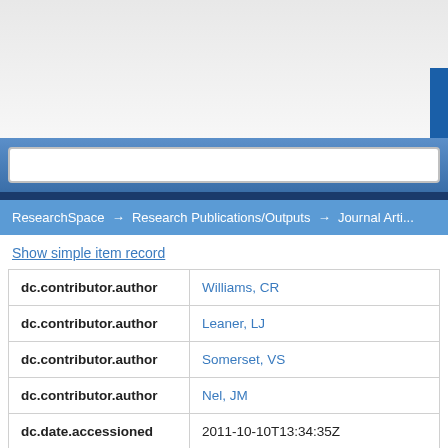[Figure (screenshot): Website header area with gradient background, blue rectangle element, navy band, and search bar with blue background]
ResearchSpace → Research Publications/Outputs → Journal Artic...
Show simple item record
| Field | Value |
| --- | --- |
| dc.contributor.author | Williams, CR |
| dc.contributor.author | Leaner, LJ |
| dc.contributor.author | Somerset, VS |
| dc.contributor.author | Nel, JM |
| dc.date.accessioned | 2011-10-10T13:34:35Z |
| dc.date.available | 2011-10-10T13:34:35Z |
| dc.date.issued | 2011-02 |